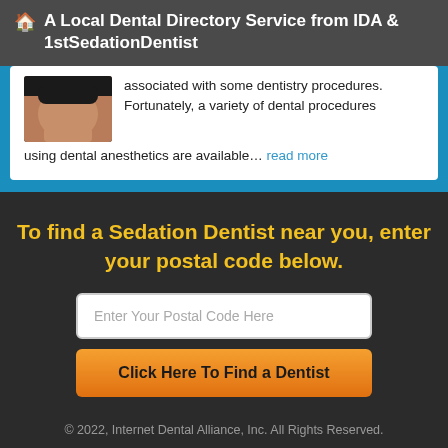A Local Dental Directory Service from IDA & 1stSedationDentist
associated with some dentistry procedures. Fortunately, a variety of dental procedures using dental anesthetics are available… read more
To find a Sedation Dentist near you, enter your postal code below.
Enter Your Postal Code Here
Click Here To Find a Dentist
© 2022, Internet Dental Alliance, Inc. All Rights Reserved.
About Us - Terms of Service Agreement - Privacy Policy - Accessibility Statement - Doctor Registration